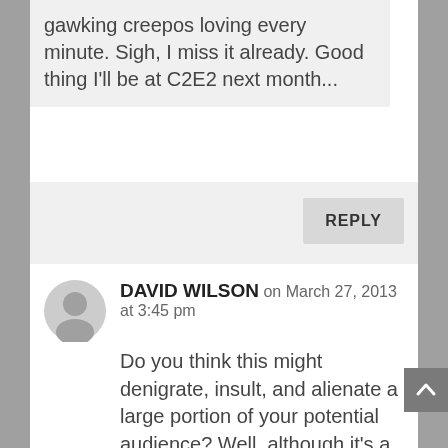gawking creepos loving every minute. Sigh, I miss it already. Good thing I'll be at C2E2 next month...
REPLY
DAVID WILSON on March 27, 2013 at 3:45 pm
Do you think this might denigrate, insult, and alienate a large portion of your potential audience? Well, although it's a great modeling job, a really great job, and expresses many fun aspects of convention